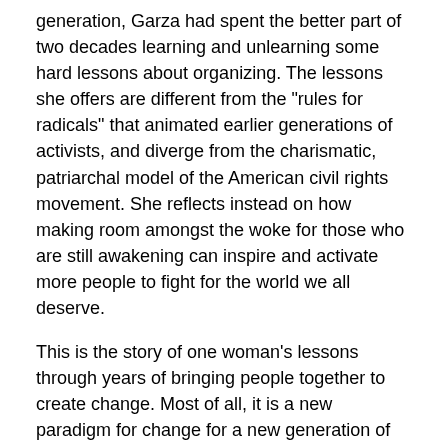generation, Garza had spent the better part of two decades learning and unlearning some hard lessons about organizing. The lessons she offers are different from the "rules for radicals" that animated earlier generations of activists, and diverge from the charismatic, patriarchal model of the American civil rights movement. She reflects instead on how making room amongst the woke for those who are still awakening can inspire and activate more people to fight for the world we all deserve.
This is the story of one woman's lessons through years of bringing people together to create change. Most of all, it is a new paradigm for change for a new generation of changemakers, from the mind and heart behind one of the most important movements of our time.
Reviews:
"Excellent and provocative... a gateway [to] urgent debates." -- Keeanga-Yamahtta Taylor, The New Yorker